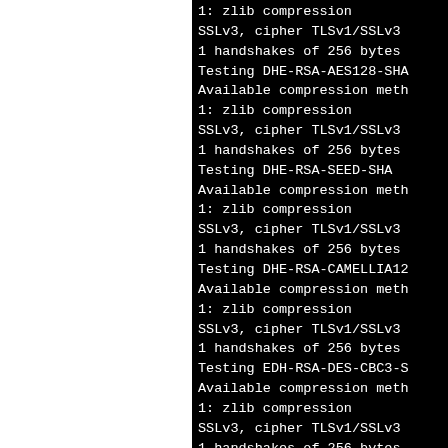[Figure (screenshot): Terminal/console output on black background showing SSL/TLS cipher testing output. Lines include zlib compression, SSLv3 cipher TLSv1/SSLv3, handshakes of 256 bytes, and various cipher tests: DHE-RSA-AES128-SHA, DHE-RSA-SEED-SHA, DHE-RSA-CAMELLIA128, EDH-RSA-DES-CBC3-SHA, and testing connection with messages.]